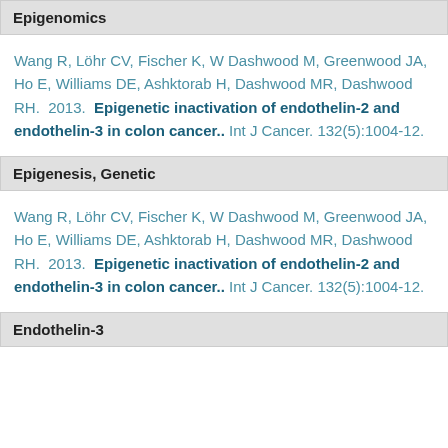Epigenomics
Wang R, Löhr CV, Fischer K, W Dashwood M, Greenwood JA, Ho E, Williams DE, Ashktorab H, Dashwood MR, Dashwood RH.  2013.  Epigenetic inactivation of endothelin-2 and endothelin-3 in colon cancer..  Int J Cancer. 132(5):1004-12.
Epigenesis, Genetic
Wang R, Löhr CV, Fischer K, W Dashwood M, Greenwood JA, Ho E, Williams DE, Ashktorab H, Dashwood MR, Dashwood RH.  2013.  Epigenetic inactivation of endothelin-2 and endothelin-3 in colon cancer..  Int J Cancer. 132(5):1004-12.
Endothelin-3